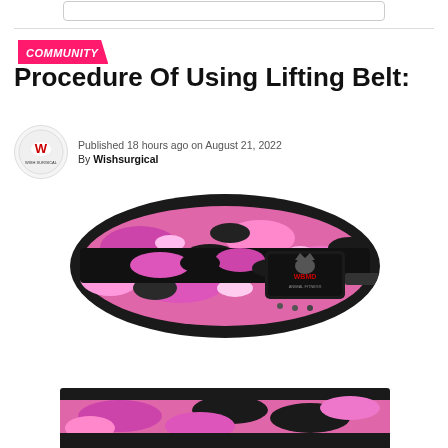COMMUNITY
Procedure Of Using Lifting Belt:
Published 18 hours ago on August 21, 2022
By Wishsurgical
[Figure (photo): Pink and black camouflage pattern weightlifting belt with WBMD/Animal Fitness logo badge on the front]
[Figure (photo): Partial view of the same pink camouflage weightlifting belt, cropped at bottom of page]